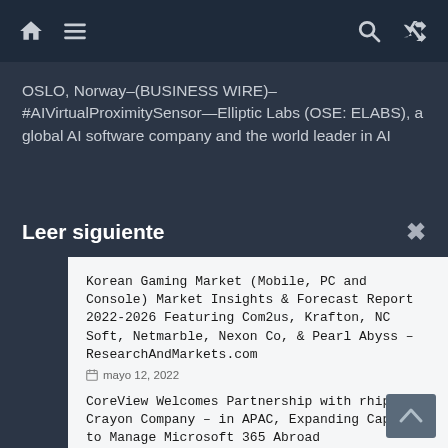Navigation bar with home, menu, search, and shuffle icons
OSLO, Norway–(BUSINESS WIRE)–#AIVirtualProximitySensor—Elliptic Labs (OSE: ELABS), a global AI software company and the world leader in AI
Leer siguiente
Korean Gaming Market (Mobile, PC and Console) Market Insights & Forecast Report 2022-2026 Featuring Com2us, Krafton, NC Soft, Netmarble, Nexon Co, & Pearl Abyss – ResearchAndMarkets.com
mayo 12, 2022
CoreView Welcomes Partnership with rhipe – a Crayon Company – in APAC, Expanding Capacity to Manage Microsoft 365 Abroad
agosto 2, 2022